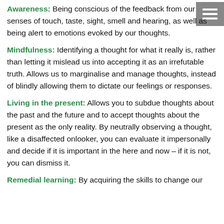Awareness: Being conscious of the feedback from our senses of touch, taste, sight, smell and hearing, as well as being alert to emotions evoked by our thoughts.
Mindfulness: Identifying a thought for what it really is, rather than letting it mislead us into accepting it as an irrefutable truth. Allows us to marginalise and manage thoughts, instead of blindly allowing them to dictate our feelings or responses.
Living in the present: Allows you to subdue thoughts about the past and the future and to accept thoughts about the present as the only reality. By neutrally observing a thought, like a disaffected onlooker, you can evaluate it impersonally and decide if it is important in the here and now – if it is not, you can dismiss it.
Remedial learning: By acquiring the skills to change our